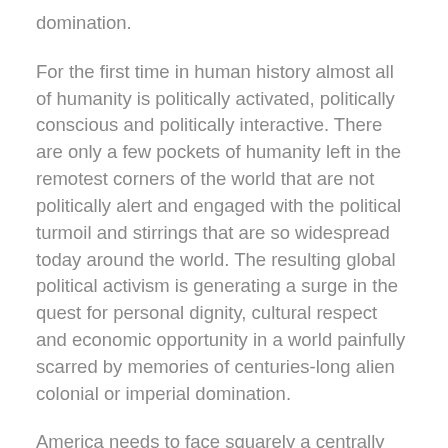domination.
For the first time in human history almost all of humanity is politically activated, politically conscious and politically interactive. There are only a few pockets of humanity left in the remotest corners of the world that are not politically alert and engaged with the political turmoil and stirrings that are so widespread today around the world. The resulting global political activism is generating a surge in the quest for personal dignity, cultural respect and economic opportunity in a world painfully scarred by memories of centuries-long alien colonial or imperial domination.
America needs to face squarely a centrally important new global reality: that the world's population is experiencing a political awakening unprecedented in scope and intensity, with the result that the politics of populism are transforming the politics of power. The need to